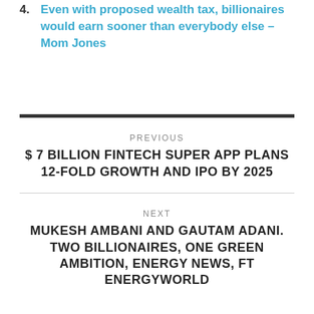4. Even with proposed wealth tax, billionaires would earn sooner than everybody else – Mom Jones
PREVIOUS
$ 7 BILLION FINTECH SUPER APP PLANS 12-FOLD GROWTH AND IPO BY 2025
NEXT
MUKESH AMBANI AND GAUTAM ADANI. TWO BILLIONAIRES, ONE GREEN AMBITION, ENERGY NEWS, FT ENERGYWORLD